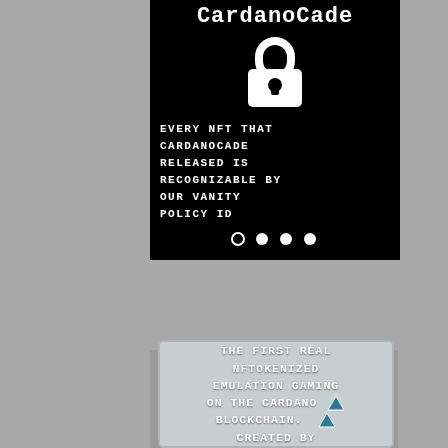CardanoCade
[Figure (illustration): White padlock icon on black background]
EVERY NFT THAT CARDANOCADE RELEASED IS RECOGNIZABLE BY OUR VANITY POLICY ID
[Figure (illustration): Pagination dots: one open circle and three filled circles]
THE FIRST REAL NFTOKENIZED EMULATION GAMING ON THE CARDANO BLOCKCHAIN. CREATED BY